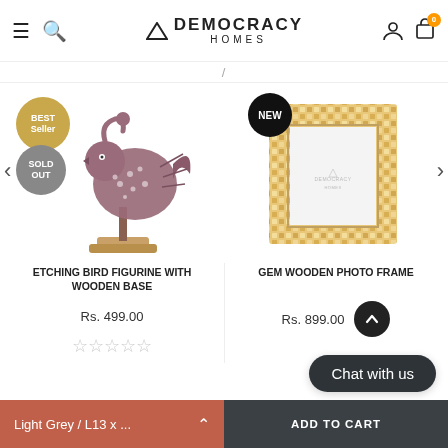Democracy Homes — navigation header with hamburger, search, logo, user icon, cart (0)
[Figure (photo): Etching bird figurine with wooden base — metal bird cutout on wood stand. Badges: BEST SELLER (gold), SOLD OUT (grey)]
[Figure (photo): Gem wooden photo frame — square frame with amber/orange mosaic shell inlay, white center. Badge: NEW (black)]
ETCHING BIRD FIGURINE WITH WOODEN BASE
Rs. 499.00
GEM WOODEN PHOTO FRAME
Rs. 899.00
Chat with us
Light Grey / L13 x ...   |   ADD TO CART